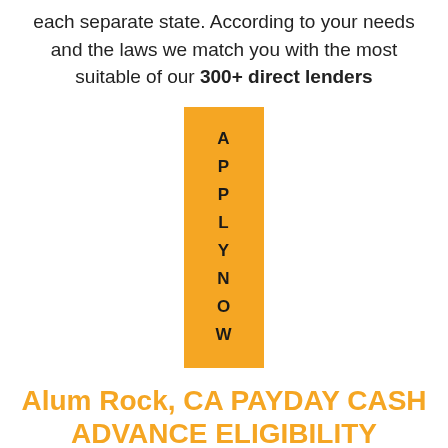each separate state. According to your needs and the laws we match you with the most suitable of our 300+ direct lenders
[Figure (other): Orange vertical rectangle button with 'APPLY NOW' text written vertically letter by letter]
Alum Rock, CA PAYDAY CASH ADVANCE ELIGIBILITY CRITERIA.